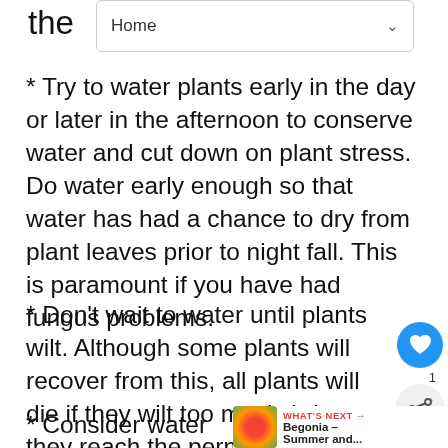the
Home
* Try to water plants early in the day or later in the afternoon to conserve water and cut down on plant stress. Do water early enough so that water has had a chance to dry from plant leaves prior to night fall. This is paramount if you have had fungus problems.
* Don't wait to water until plants wilt. Although some plants will recover from this, all plants will die if they wilt too much (when they reach the permanent wilting point).
* Consider water conservation methods such as drip irrigation, mulching, and xeriscaping. Drip systems which slowly drip moisture